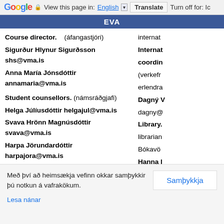Google  View this page in: English  Translate  Turn off for: Ic
EVA
Course director.    (áfangastjóri)
Sigurður Hlynur Sigurðsson shs@vma.is
Anna María Jónsdóttir annamaria@vma.is

Student counsellors.  (námsráðgjafi)
Helga Júlíusdóttir helgajul@vma.is
Svava Hrönn Magnúsdóttir svava@vma.is
Harpa Jörundardóttir harpajora@vma.is

Hannesína Scheving  (skólahjúkrunarfræðingur school nurse)  hannesina@vma.is
internat
Internat
coordin
(verkefr
erlendra
Dagný V
dagny@
Library.
librarian
Bókavö
Hanna l
Guðmur
Með því að heimsækja vefinn okkar samþykkir þú notkun á vafrakökum.
Lesa nánar
Samþykkja